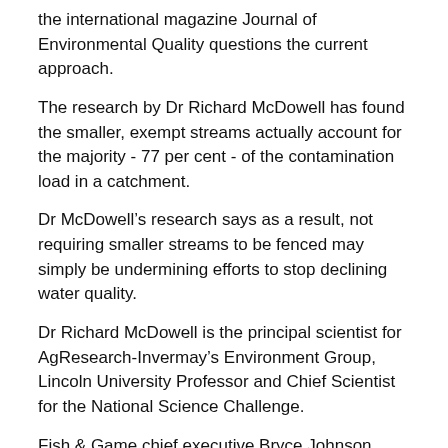the international magazine Journal of Environmental Quality questions the current approach.
The research by Dr Richard McDowell has found the smaller, exempt streams actually account for the majority - 77 per cent - of the contamination load in a catchment.
Dr McDowell's research says as a result, not requiring smaller streams to be fenced may simply be undermining efforts to stop declining water quality.
Dr Richard McDowell is the principal scientist for AgResearch-Invermay's Environment Group, Lincoln University Professor and Chief Scientist for the National Science Challenge.
Fish & Game chief executive Bryce Johnson says his research paper makes for sobering reading.
“This is an extremely important piece of research.  We now have the science to show what we have long suspected – small waterways are crucially important to the environment and we have been concerned for some time that”